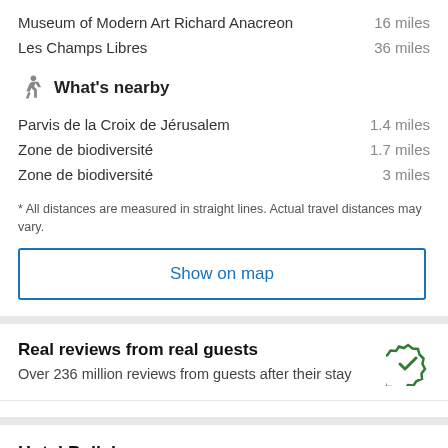Museum of Modern Art Richard Anacreon  16 miles
Les Champs Libres  36 miles
What's nearby
Parvis de la Croix de Jérusalem  1.4 miles
Zone de biodiversité  1.7 miles
Zone de biodiversité  3 miles
* All distances are measured in straight lines. Actual travel distances may vary.
Show on map
Real reviews from real guests
Over 236 million reviews from guests after their stay
Hotel Policies